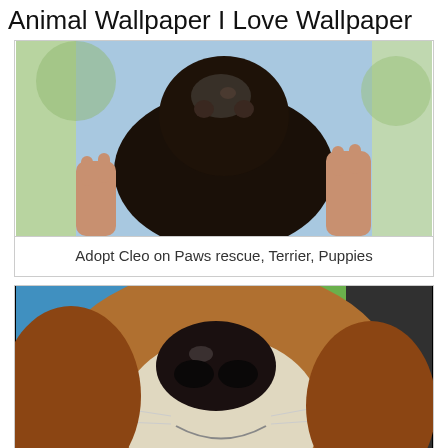Animal Wallpaper I Love Wallpaper
[Figure (photo): A dark/black puppy being held up by human hands, outdoors with blurred green and blue background]
Adopt Cleo on Paws rescue, Terrier, Puppies
[Figure (photo): Close-up of a beagle/hound dog face from below showing its large nose, floppy ears, and pink collar, outdoors]